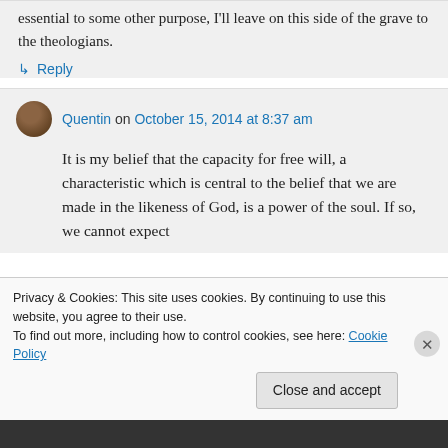essential to some other purpose, I'll leave on this side of the grave to the theologians.
↳ Reply
Quentin on October 15, 2014 at 8:37 am
It is my belief that the capacity for free will, a characteristic which is central to the belief that we are made in the likeness of God, is a power of the soul. If so, we cannot expect
Privacy & Cookies: This site uses cookies. By continuing to use this website, you agree to their use.
To find out more, including how to control cookies, see here: Cookie Policy
Close and accept